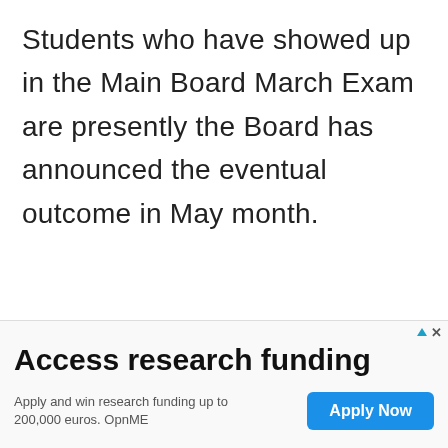Students who have showed up in the Main Board March Exam are presently the Board has announced the eventual outcome in May month.
[Figure (screenshot): Advertisement banner: 'Access research funding' with 'Apply Now' button. Text: Apply and win research funding up to 200,000 euros. OpnME]